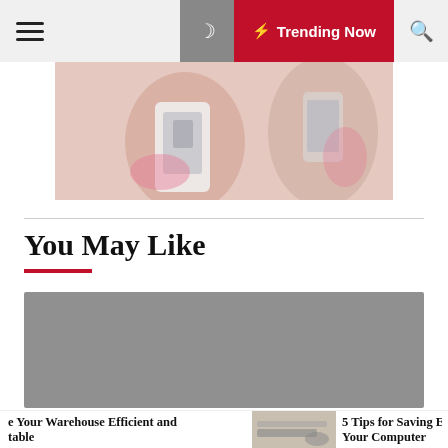≡  ☽  ⚡ Trending Now  🔍
[Figure (photo): A person taking a selfie with a smartphone in a mirror, blurred lifestyle photo]
You May Like
[Figure (photo): Gray placeholder image for article card]
e Your Warehouse Efficient and table
[Figure (photo): Small thumbnail of hands at a keyboard]
5 Tips for Saving Ener Your Computer